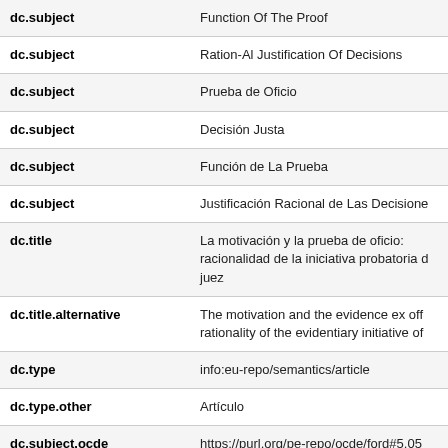| Field | Value |
| --- | --- |
| dc.subject | Function Of The Proof |
| dc.subject | Ration-Al Justification Of Decisions |
| dc.subject | Prueba de Oficio |
| dc.subject | Decisión Justa |
| dc.subject | Función de La Prueba |
| dc.subject | Justificación Racional de Las Decisione |
| dc.title | La motivación y la prueba de oficio: racionalidad de la iniciativa probatoria d juez |
| dc.title.alternative | The motivation and the evidence ex off rationality of the evidentiary initiative of |
| dc.type | info:eu-repo/semantics/article |
| dc.type.other | Artículo |
| dc.subject.ocde | https://purl.org/pe-repo/ocde/ford#5.05 |